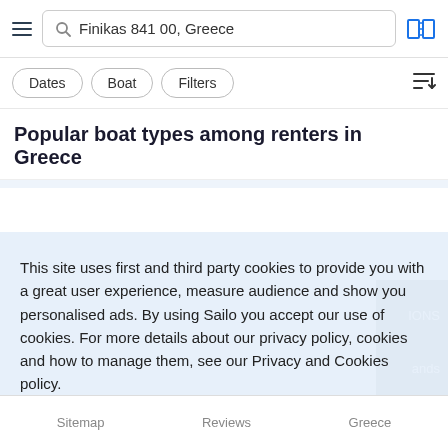Finikas 841 00, Greece
Dates  Boat  Filters
Popular boat types among renters in Greece
This site uses first and third party cookies to provide you with a great user experience, measure audience and show you personalised ads. By using Sailo you accept our use of cookies. For more details about our privacy policy, cookies and how to manage them, see our Privacy and Cookies policy.
Learn more
Got it!
Sitemap  Reviews  Greece